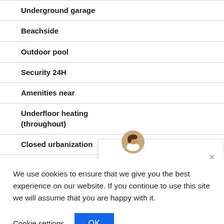Underground garage
Beachside
Outdoor pool
Security 24H
Amenities near
Underfloor heating (throughout)
Closed urbanization
[Figure (screenshot): Chat widget with female avatar and close button]
We use cookies to ensure that we give you the best experience on our website. If you continue to use this site we will assume that you are happy with it.
Cookie settings   OK